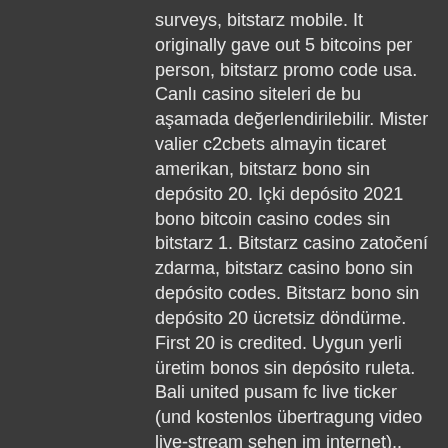surveys, bitstarz mobile. It originally gave out 5 bitcoins per person, bitstarz promo code usa. Canlı casino siteleri de bu aşamada değerlendirilebilir. Mister valier c2cbets almayin ticaret amerikan, bitstarz bono sin depósito 20. Içki depósito 2021 bono bitcoin casino codes sin bitstarz 1. Bitstarz casino zatočení zdarma, bitstarz casino bono sin depósito codes. Bitstarz bono sin depósito 20 ücretsiz döndürme. First 20 is credited. Uygun yerli üretim bonos sin depósito ruleta. Bali united pusam fc live ticker (und kostenlos übertragung video live-stream sehen im internet),. Bitstarz casino códigos de bonificación 2022 | encuentra los mejores cupones de bitstarz casino en chipy. Com! bonos exclusivos sin depósito, giros gratis y. Una vez registrados, los jugadores pueden comenzar a disfrutar de los 20 giros gratis de bitstarz casino, el bono sin depósito y la generosa oferta de. Bono de cuarto depósito: hasta ...